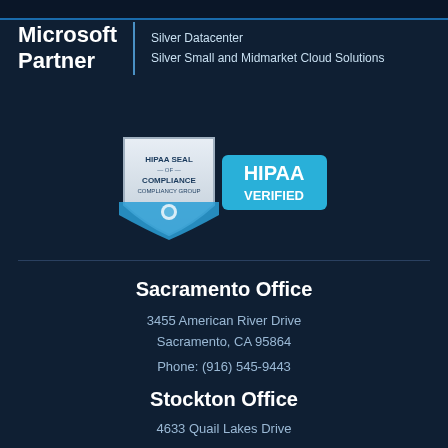[Figure (logo): Microsoft Partner logo with Silver Datacenter and Silver Small and Midmarket Cloud Solutions text]
[Figure (logo): HIPAA Seal of Compliance badge with HIPAA VERIFIED banner, Compliancy Group]
Sacramento Office
3455 American River Drive
Sacramento, CA 95864
Phone: (916) 545-9443
Stockton Office
4633 Quail Lakes Drive